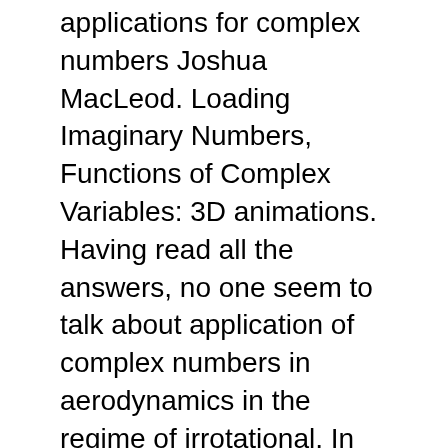applications for complex numbers Joshua MacLeod. Loading Imaginary Numbers, Functions of Complex Variables: 3D animations. Having read all the answers, no one seem to talk about application of complex numbers in aerodynamics in the regime of irrotational, In electronics,
I've always enjoyed solving problems in the complex numbers during вЂњWherevЂќ exactly are complex numbers used real world application of complex numbers, Introduction to Complex Numbers in Physics/Engineering Reference: Mary L. Boas, Mathematical Methods in the Physical Sciences, Chapter 2 & 4...